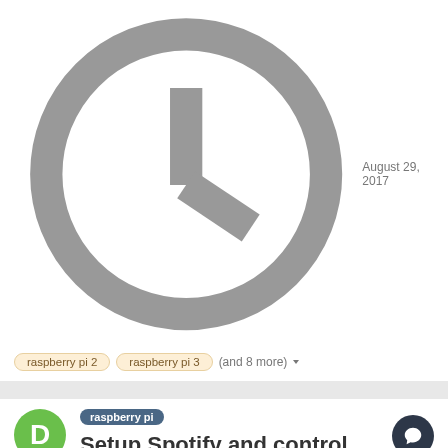August 29, 2017
raspberry pi 2
raspberry pi 3
(and 8 more)
[Figure (illustration): Green circular avatar with letter D]
[Figure (illustration): Dark circular comment icon]
raspberry pi
Setup Spotify and control the music on Raspberry Pi (or any other ARM)
Dmitry posted a topic in General
There are a lot of ways to use the Raspberry Pi (and other ARM-based) mini computer boards. I've wondered if it's possible to make up
August 25, 2017
raspberry pi 2
raspberry pi 3
(and 10 more)
[Figure (illustration): Green circular avatar with letter D]
[Figure (illustration): Dark circular comment icon]
raspberry pi
Virtualbox emulator alternative for